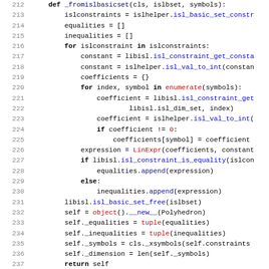[Figure (screenshot): Python source code screenshot showing lines 212-243 of a file implementing ISL (Integer Set Library) basic set operations in a Polyhedron class. Lines include method definitions _fromislbasicset and _toislbasicset with Python keywords, function calls, and orange-colored built-in references.]